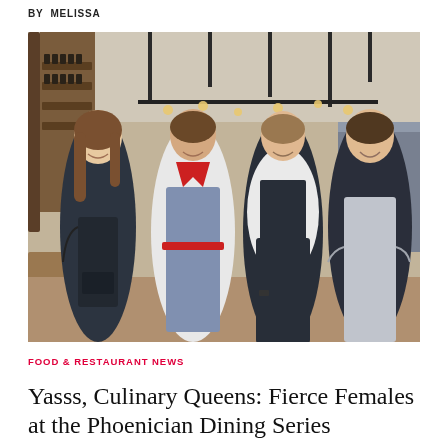BY MELISSA
[Figure (photo): Four female chefs posing together in a restaurant kitchen/dining area, wearing chef coats and aprons.]
FOOD & RESTAURANT NEWS
Yasss, Culinary Queens: Fierce Females at the Phoenician Dining Series